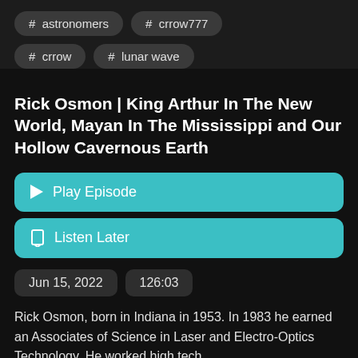# astronomers
# crrow777
# crrow
# lunar wave
Rick Osmon | King Arthur In The New World, Mayan In The Mississippi and Our Hollow Cavernous Earth
▶ Play Episode
☐ Listen Later
Jun 15, 2022
126:03
Rick Osmon, born in Indiana in 1953. In 1983 he earned an Associates of Science in Laser and Electro-Optics Technology. He worked high tech